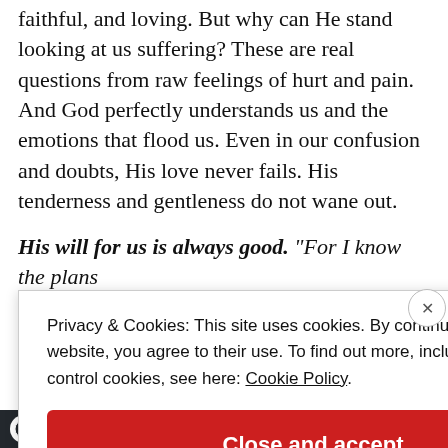faithful, and loving. But why can He stand looking at us suffering? These are real questions from raw feelings of hurt and pain. And God perfectly understands us and the emotions that flood us. Even in our confusion and doubts, His love never fails. His tenderness and gentleness do not wane out.
His will for us is always good. “For I know the plans I have for you,” declares the LORD, “plans for self…
Privacy & Cookies: This site uses cookies. By continuing to use this website, you agree to their use. To find out more, including how to control cookies, see here: Cookie Policy
Close and accept
course with WordPress